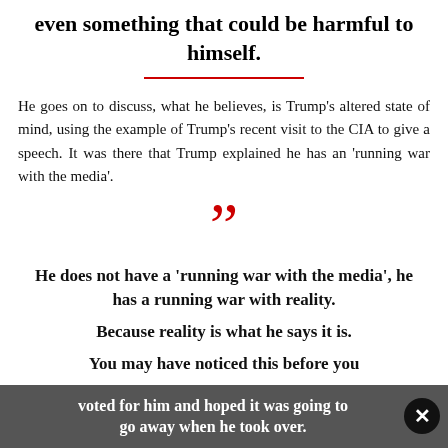even something that could be harmful to himself.
He goes on to discuss, what he believes, is Trump's altered state of mind, using the example of Trump's recent visit to the CIA to give a speech. It was there that Trump explained he has an 'running war with the media'.
”
He does not have a 'running war with the media', he has a running war with reality.
Because reality is what he says it is.
You may have noticed this before you voted for him and hoped it was going to go away when he took over.